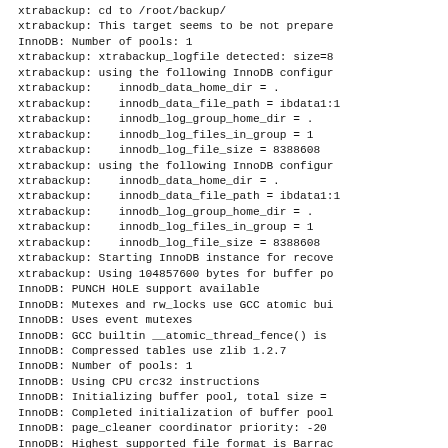xtrabackup: cd to /root/backup/
xtrabackup: This target seems to be not prepare
InnoDB: Number of pools: 1
xtrabackup: xtrabackup_logfile detected: size=8
xtrabackup: using the following InnoDB configur
xtrabackup:    innodb_data_home_dir = .
xtrabackup:    innodb_data_file_path = ibdata1:1
xtrabackup:    innodb_log_group_home_dir = .
xtrabackup:    innodb_log_files_in_group = 1
xtrabackup:    innodb_log_file_size = 8388608
xtrabackup: using the following InnoDB configur
xtrabackup:    innodb_data_home_dir = .
xtrabackup:    innodb_data_file_path = ibdata1:1
xtrabackup:    innodb_log_group_home_dir = .
xtrabackup:    innodb_log_files_in_group = 1
xtrabackup:    innodb_log_file_size = 8388608
xtrabackup: Starting InnoDB instance for recove
xtrabackup: Using 104857600 bytes for buffer po
InnoDB: PUNCH HOLE support available
InnoDB: Mutexes and rw_locks use GCC atomic bui
InnoDB: Uses event mutexes
InnoDB: GCC builtin __atomic_thread_fence() is
InnoDB: Compressed tables use zlib 1.2.7
InnoDB: Number of pools: 1
InnoDB: Using CPU crc32 instructions
InnoDB: Initializing buffer pool, total size =
InnoDB: Completed initialization of buffer pool
InnoDB: page_cleaner coordinator priority: -20
InnoDB: Highest supported file format is Barrac
InnoDB: Creating shared tablespace for temporar
InnoDB: Setting file ./ibtmp1 size to 12 MB